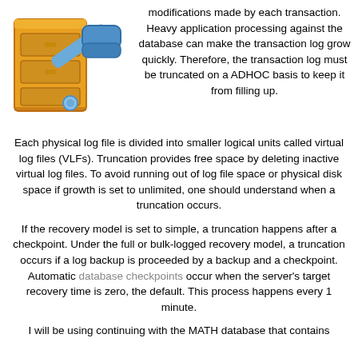[Figure (illustration): A yellow file cabinet with a blue gavel/mallet icon, representing database management or SQL tools.]
modifications made by each transaction. Heavy application processing against the database can make the transaction log grow quickly. Therefore, the transaction log must be truncated on a ADHOC basis to keep it from filling up.
Each physical log file is divided into smaller logical units called virtual log files (VLFs). Truncation provides free space by deleting inactive virtual log files. To avoid running out of log file space or physical disk space if growth is set to unlimited, one should understand when a truncation occurs.
If the recovery model is set to simple, a truncation happens after a checkpoint. Under the full or bulk-logged recovery model, a truncation occurs if a log backup is proceeded by a backup and a checkpoint. Automatic database checkpoints occur when the server's target recovery time is zero, the default. This process happens every 1 minute.
I will be using continuing with the MATH database that contains